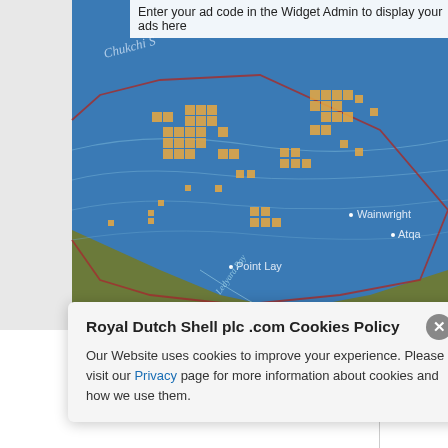[Figure (map): Map of the Chukchi Sea region showing oil/gas lease blocks as orange squares, coastline of Alaska with locations labeled: Wainwright, Atqa, Point Lay, Cape Lisburne. Red boundary line indicating lease area. Light blue water with bathymetric contour lines.]
Enter your ad code in the Widget Admin to display your ads here
Royal Dutch Shell plc .com Cookies Policy
Our Website uses cookies to improve your experience. Please visit our Privacy page for more information about cookies and how we use them.
75
no 193 An
Blocks
Sea